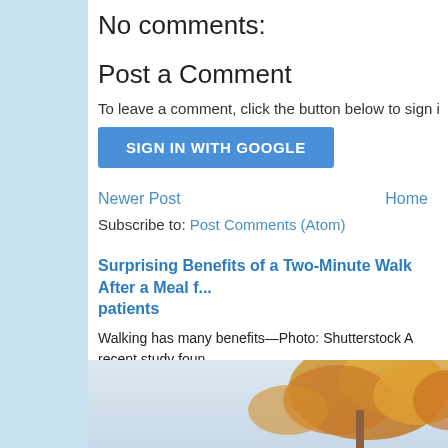No comments:
Post a Comment
To leave a comment, click the button below to sign i
[Figure (other): SIGN IN WITH GOOGLE button - a blue rounded rectangle button with white text]
Newer Post    Home
Subscribe to: Post Comments (Atom)
Surprising Benefits of a Two-Minute Walk After a Meal f... patients
Walking has many benefits—Photo: Shutterstock A recent study found... meal can help protect against high bl...
[Figure (photo): Autumn tree with orange and yellow leaves against a light sky background]